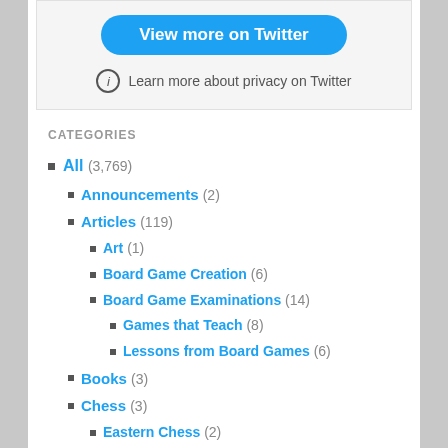[Figure (screenshot): Twitter embed widget with 'View more on Twitter' blue button and privacy info link]
CATEGORIES
All (3,769)
Announcements (2)
Articles (119)
Art (1)
Board Game Creation (6)
Board Game Examinations (14)
Games that Teach (8)
Lessons from Board Games (6)
Books (3)
Chess (3)
Eastern Chess (2)
Collecting (12)
A Few Interesting Things (2)
Flags (1)
Creating (6)